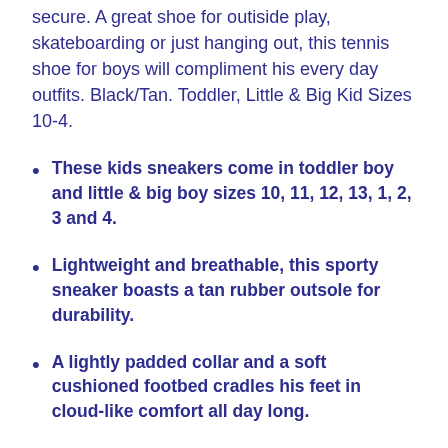secure. A great shoe for outiside play, skateboarding or just hanging out, this tennis shoe for boys will compliment his every day outfits. Black/Tan. Toddler, Little & Big Kid Sizes 10-4.
These kids sneakers come in toddler boy and little & big boy sizes 10, 11, 12, 13, 1, 2, 3 and 4.
Lightweight and breathable, this sporty sneaker boasts a tan rubber outsole for durability.
A lightly padded collar and a soft cushioned footbed cradles his feet in cloud-like comfort all day long.